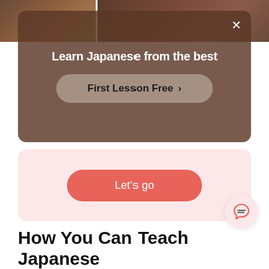[Figure (photo): Screenshot of a language-learning app with a popup modal showing 'Learn Japanese from the best' over a photo background, a 'First Lesson Free' button, a pink 'Let's go' promo section, and the beginning of an article title 'How You Can Teach Japanese']
Learn Japanese from the best
First Lesson Free >
Let's go
How You Can Teach Japanese